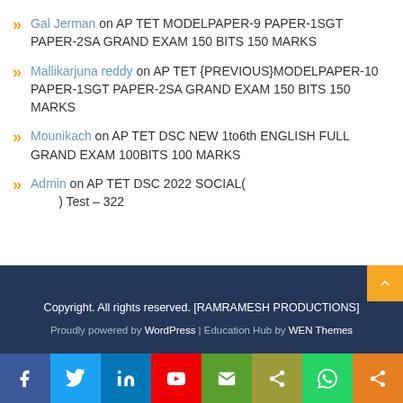Gal Jerman on AP TET MODELPAPER-9 PAPER-1SGT PAPER-2SA GRAND EXAM 150 BITS 150 MARKS
Mallikarjuna reddy on AP TET {PREVIOUS}MODELPAPER-10 PAPER-1SGT PAPER-2SA GRAND EXAM 150 BITS 150 MARKS
Mounikach on AP TET DSC NEW 1to6th ENGLISH FULL GRAND EXAM 100BITS 100 MARKS
Admin on AP TET DSC 2022 SOCIAL( ) Test – 322
Copyright. All rights reserved. [RAMRAMESH PRODUCTIONS]
Proudly powered by WordPress | Education Hub by WEN Themes